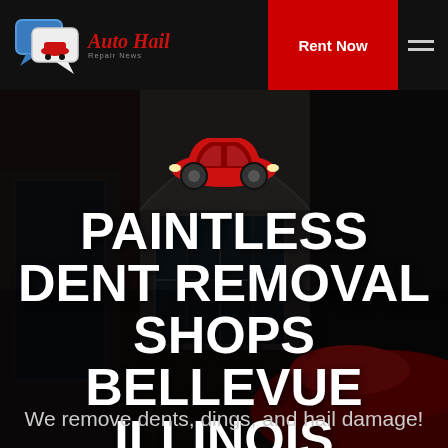[Figure (logo): Auto Hail Repair News logo with two overlapping chat bubble icons and stylized italic text 'Auto Hail' with subtitle 'Repair News']
Rent Now
[Figure (photo): Dark moody background showing a classic building with ornate ironwork doors and large windows, with a red sports car in the foreground, overlaid with a semi-transparent dark filter]
[Figure (illustration): Red car silhouette icon centered above the main title text]
PAINTLESS DENT REMOVAL SHOPS BELLEVUE ILLINOIS
We remove dents, dings, and hail damage!